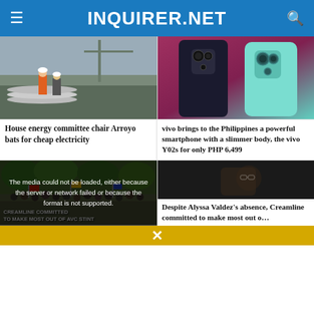INQUIRER.NET
[Figure (photo): Construction site with workers in orange safety vests and hard hats standing near railway tracks]
[Figure (photo): Two smartphones - one dark colored and one mint/teal colored showing camera lenses]
House energy committee chair Arroyo bats for cheap electricity
vivo brings to the Philippines a powerful smartphone with a slimmer body, the vivo Y02s for only PHP 6,499
[Figure (photo): Large crowd of people gathered outdoors under trees, appears to be a protest or rally]
[Figure (screenshot): Dark photo of a person wearing glasses, partially lit]
The media could not be loaded, either because the server or network failed or because the format is not supported.
Despite Alyssa Valdez's absence, Creamline committed to make most out o…
CREAMLINE COMMITTED TO MAKE MOST OUT OF AVC STINT